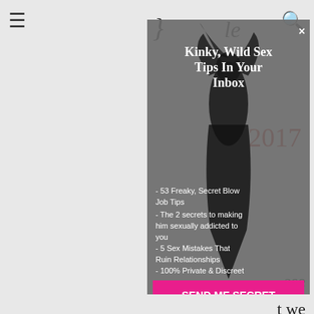≡  [logo partial]  ×  [logo partial]  🔍
[Figure (screenshot): Website popup/modal overlay on a blog page. A gray semi-transparent modal appears over page content showing a silhouetted figure. The modal contains a title 'Kinky, Wild Sex Tips In Your Inbox', bullet list items, and a pink CTA button. Background shows partial navigation bar with hamburger menu and search icon, and partial article text including the year 2017 in red.]
Kinky, Wild Sex Tips In Your Inbox
- 53 Freaky, Secret Blow Job Tips
- The 2 secrets to making him sexually addicted to you
- 5 Sex Mistakes That Ruin Relationships
- 100% Private & Discreet
SEND ME SECRET SEX TIPS!